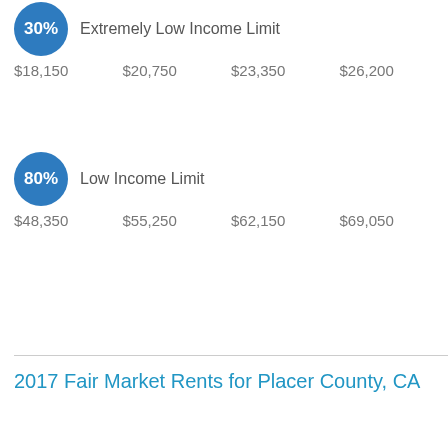30% Extremely Low Income Limit
$18,150  $20,750  $23,350  $26,200
80% Low Income Limit
$48,350  $55,250  $62,150  $69,050
2017 Fair Market Rents for Placer County, CA